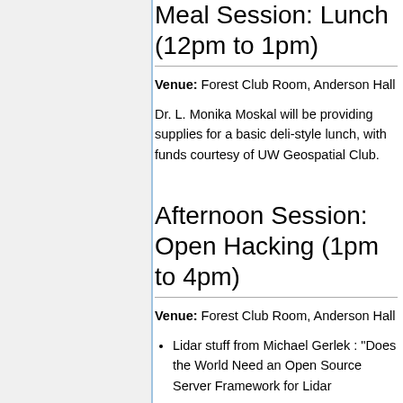Meal Session: Lunch (12pm to 1pm)
Venue: Forest Club Room, Anderson Hall
Dr. L. Monika Moskal will be providing supplies for a basic deli-style lunch, with funds courtesy of UW Geospatial Club.
Afternoon Session: Open Hacking (1pm to 4pm)
Venue: Forest Club Room, Anderson Hall
Lidar stuff from Michael Gerlek : "Does the World Need an Open Source Server Framework for Lidar